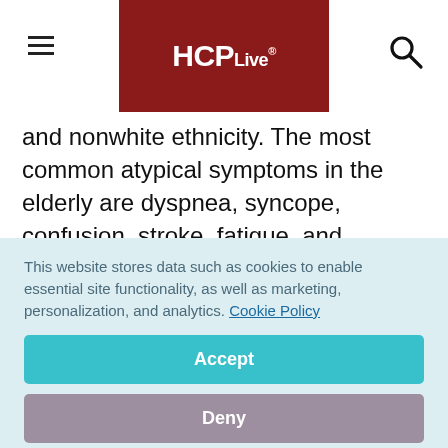HCPLive®
and nonwhite ethnicity. The most common atypical symptoms in the elderly are dyspnea, syncope, confusion, stroke, fatigue, and nausea or emesis, whereas in diabetics the most frequent atypical symptoms are dyspnea, nausea or vomiting, confusion, and fatigue.3,4
This website stores data such as cookies to enable essential site functionality, as well as marketing, personalization, and analytics. Cookie Policy